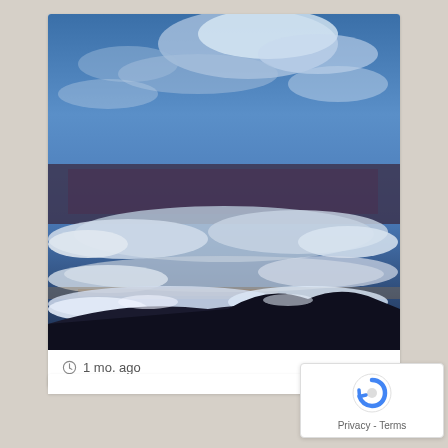[Figure (illustration): Oil painting of a dramatic sky scene with blue tones, swirling clouds, dark mountain silhouette at bottom, layered cloud formations with white and grey wisps against deep blue sky]
1 mo. ago
[Figure (logo): Google reCAPTCHA badge with blue arrow/refresh icon and text 'Privacy - Terms']